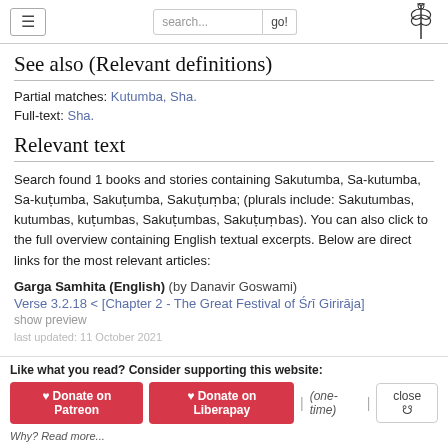search... go! [logo]
See also (Relevant definitions)
Partial matches: Kutumba, Sha.
Full-text: Sha.
Relevant text
Search found 1 books and stories containing Sakutumba, Sa-kutumba, Sa-kuṭumba, Sakuṭumba, Sakuṭuṃba; (plurals include: Sakutumbas, kutumbas, kuṭumbas, Sakuṭumbas, Sakuṭuṃbas). You can also click to the full overview containing English textual excerpts. Below are direct links for the most relevant articles:
Garga Samhita (English) (by Danavir Goswami)
Verse 3.2.18 < [Chapter 2 - The Great Festival of Śrī Girirāja]
show preview
Like what you read? Consider supporting this website: ♥ Donate on Patreon  ♥ Donate on Liberapay  | (one-time) |  close ⊗  Why? Read more...